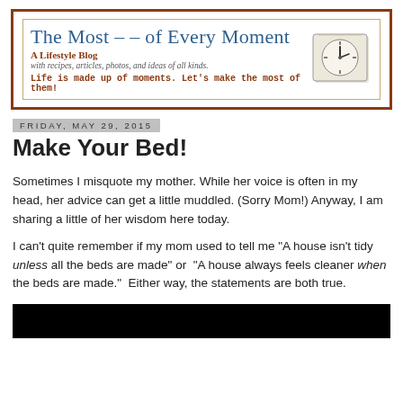[Figure (logo): Blog header banner with title 'The Most - - of Every Moment', subtitle 'A Lifestyle Blog', tagline 'with recipes, articles, photos, and ideas of all kinds.', slogan 'Life is made up of moments. Let's make the most of them!', and a clock illustration on the right.]
Friday, May 29, 2015
Make Your Bed!
Sometimes I misquote my mother. While her voice is often in my head, her advice can get a little muddled. (Sorry Mom!) Anyway, I am sharing a little of her wisdom here today.
I can't quite remember if my mom used to tell me "A house isn't tidy unless all the beds are made" or  "A house always feels cleaner when the beds are made."  Either way, the statements are both true.
[Figure (photo): Dark/black image strip at the bottom of the page, likely a photo of a bed.]